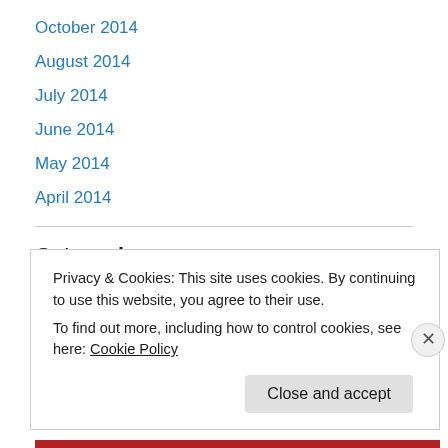October 2014
August 2014
July 2014
June 2014
May 2014
April 2014
Categories
Cultural Dimensions
Emergency Communication
Emergency Management
Privacy & Cookies: This site uses cookies. By continuing to use this website, you agree to their use.
To find out more, including how to control cookies, see here: Cookie Policy
Close and accept